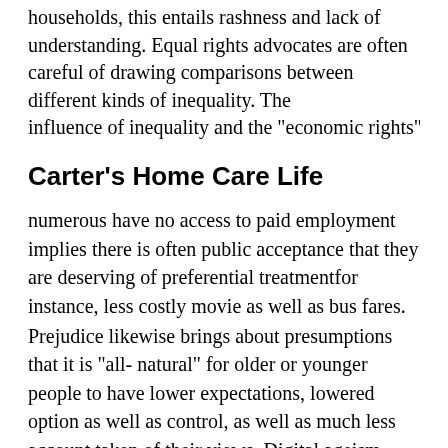households, this entails rashness and lack of understanding. Equal rights advocates are often careful of drawing comparisons between different kinds of inequality. The influence of inequality and the "economic rights"...
Carter's Home Care Life
numerous have no access to paid employment implies there is often public acceptance that they are deserving of preferential treatmentfor instance, less costly movie as well as bus fares.
Prejudice likewise brings about presumptions that it is "all-natural" for older or younger people to have lower expectations, lowered option as well as control, as well as much less account taken of their views. Digital ageism describes the bias dealt with by older grownups in the electronic globe. A couple of instances of the subtle methods which digital ageism runs in social depictions,